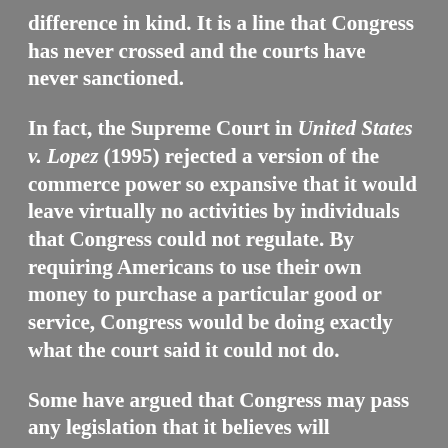difference in kind. It is a line that Congress has never crossed and the courts have never sanctioned.
In fact, the Supreme Court in United States v. Lopez (1995) rejected a version of the commerce power so expansive that it would leave virtually no activities by individuals that Congress could not regulate. By requiring Americans to use their own money to purchase a particular good or service, Congress would be doing exactly what the court said it could not do.
Some have argued that Congress may pass any legislation that it believes will